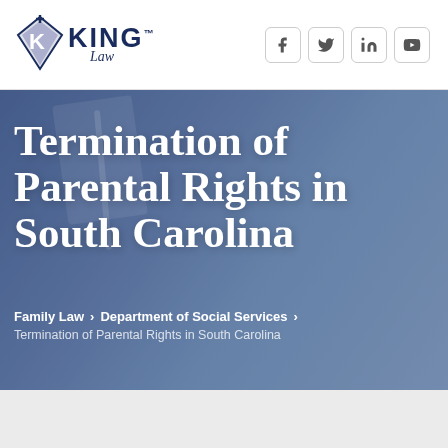King Law — Logo and social media icons (Facebook, Twitter, LinkedIn, YouTube)
Termination of Parental Rights in South Carolina
Family Law > Department of Social Services > Termination of Parental Rights in South Carolina